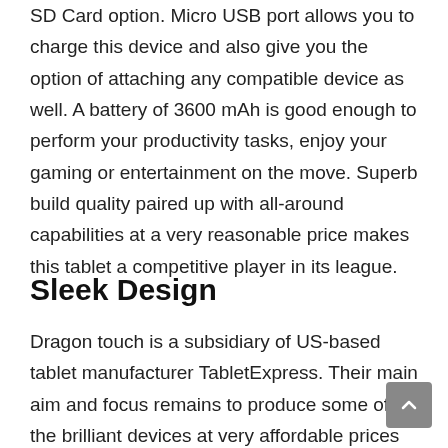SD Card option. Micro USB port allows you to charge this device and also give you the option of attaching any compatible device as well. A battery of 3600 mAh is good enough to perform your productivity tasks, enjoy your gaming or entertainment on the move. Superb build quality paired up with all-around capabilities at a very reasonable price makes this tablet a competitive player in its league.
Sleek Design
Dragon touch is a subsidiary of US-based tablet manufacturer TabletExpress. Their main aim and focus remains to produce some of the brilliant devices at very affordable prices